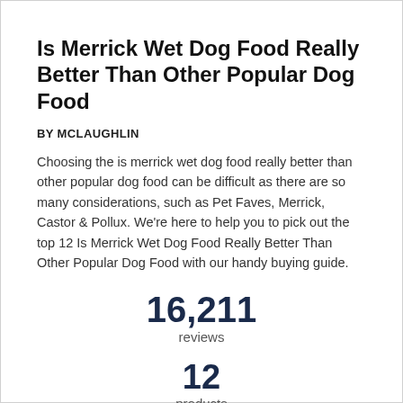Is Merrick Wet Dog Food Really Better Than Other Popular Dog Food
BY MCLAUGHLIN
Choosing the is merrick wet dog food really better than other popular dog food can be difficult as there are so many considerations, such as Pet Faves, Merrick, Castor & Pollux. We're here to help you to pick out the top 12 Is Merrick Wet Dog Food Really Better Than Other Popular Dog Food with our handy buying guide.
16,211
reviews
12
products